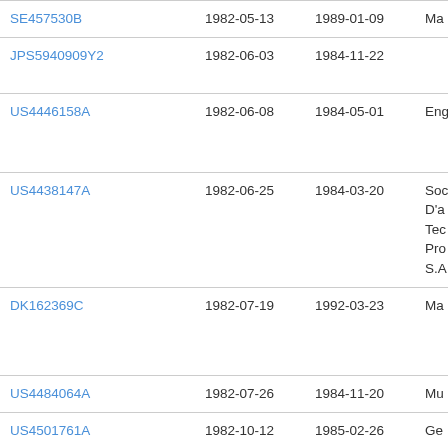| Patent ID | Filing Date | Publication Date | Owner |
| --- | --- | --- | --- |
| SE457530B | 1982-05-13 | 1989-01-09 | Ma… |
| JPS5940909Y2 | 1982-06-03 | 1984-11-22 |  |
| US4446158A | 1982-06-08 | 1984-05-01 | Eng… |
| US4438147A | 1982-06-25 | 1984-03-20 | Soc D'a Tec Pro S.A… |
| DK162369C | 1982-07-19 | 1992-03-23 | Ma… |
| US4484064A | 1982-07-26 | 1984-11-20 | Mu… |
| US4501761A | 1982-10-12 | 1985-02-26 | Ge… |